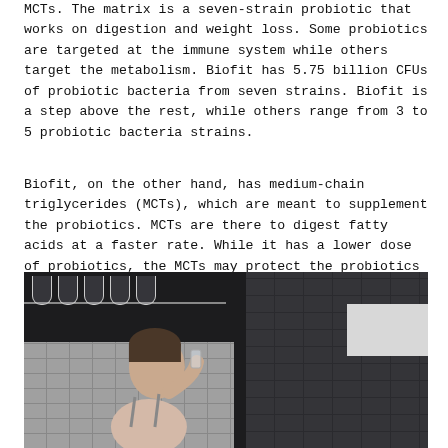MCTs. The matrix is a seven-strain probiotic that works on digestion and weight loss. Some probiotics are targeted at the immune system while others target the metabolism. Biofit has 5.75 billion CFUs of probiotic bacteria from seven strains. Biofit is a step above the rest, while others range from 3 to 5 probiotic bacteria strains.
Biofit, on the other hand, has medium-chain triglycerides (MCTs), which are meant to supplement the probiotics. MCTs are there to digest fatty acids at a faster rate. While it has a lower dose of probiotics, the MCTs may protect the probiotics from efficiently reaching the digestive tract.
[Figure (photo): A woman drinking from a glass in a dark kitchen setting with hanging wine glasses overhead and dark tile wall in the background.]